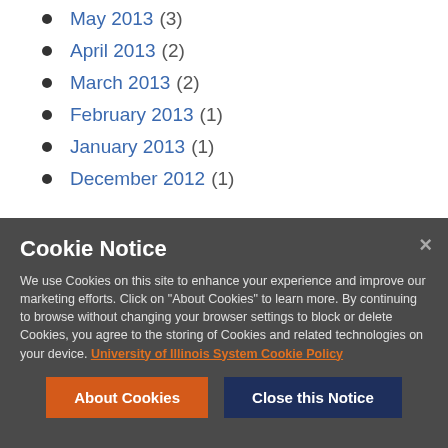May 2013 (3)
April 2013 (2)
March 2013 (2)
February 2013 (1)
January 2013 (1)
December 2012 (1)
Cookie Notice
We use Cookies on this site to enhance your experience and improve our marketing efforts. Click on "About Cookies" to learn more. By continuing to browse without changing your browser settings to block or delete Cookies, you agree to the storing of Cookies and related technologies on your device. University of Illinois System Cookie Policy
About Cookies | Close this Notice